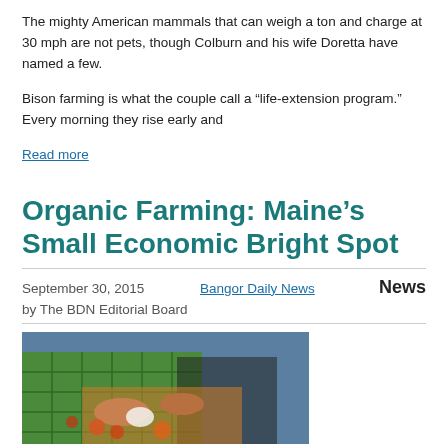The mighty American mammals that can weigh a ton and charge at 30 mph are not pets, though Colburn and his wife Doretta have named a few.
Bison farming is what the couple call a “life-extension program.” Every morning they rise early and
Read more
Organic Farming: Maine’s Small Economic Bright Spot
September 30, 2015    Bangor Daily News    News
by The BDN Editorial Board
[Figure (photo): Hands working with produce in green crates, farming/harvest scene]